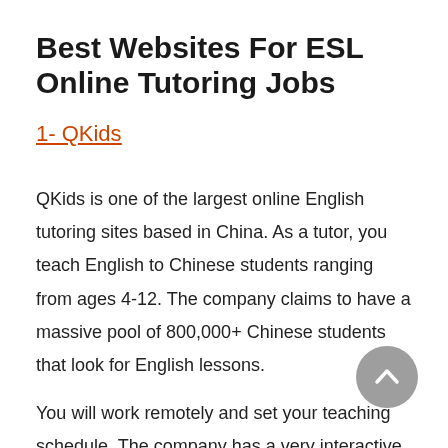Best Websites For ESL Online Tutoring Jobs
1- QKids
QKids is one of the largest online English tutoring sites based in China. As a tutor, you teach English to Chinese students ranging from ages 4-12. The company claims to have a massive pool of 800,000+ Chinese students that look for English lessons.
You will work remotely and set your teaching schedule. The company has a very interactive